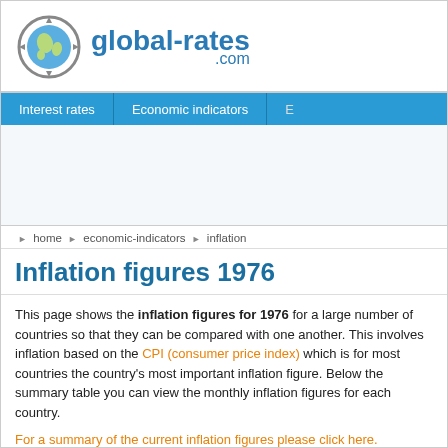[Figure (logo): global-rates.com logo with globe icon and site name]
Interest rates | Economic indicators
home » economic-indicators » inflation
Inflation figures 1976
This page shows the inflation figures for 1976 for a large number of countries so that they can be compared with one another. This involves inflation based on the CPI (consumer price index) which is for most countries the country's most important inflation figure. Below the summary table you can view the monthly inflation figures for each country.
For a summary of the current inflation figures please click here.